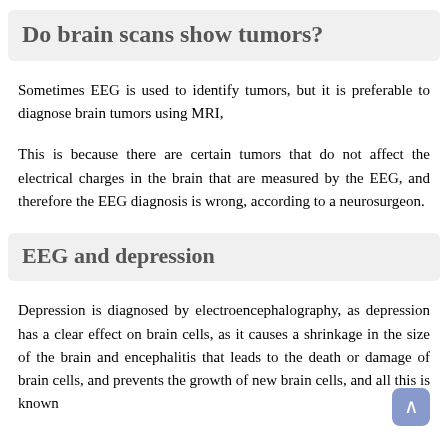Do brain scans show tumors?
Sometimes EEG is used to identify tumors, but it is preferable to diagnose brain tumors using MRI,
This is because there are certain tumors that do not affect the electrical charges in the brain that are measured by the EEG, and therefore the EEG diagnosis is wrong, according to a neurosurgeon.
EEG and depression
Depression is diagnosed by electroencephalography, as depression has a clear effect on brain cells, as it causes a shrinkage in the size of the brain and encephalitis that leads to the death or damage of brain cells, and prevents the growth of new brain cells, and all this is known